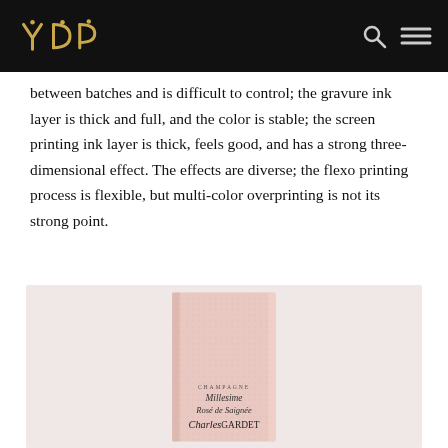YDP
between batches and is difficult to control; the gravure ink layer is thick and full, and the color is stable; the screen printing ink layer is thick, feels good, and has a strong three-dimensional effect. The effects are diverse; the flexo printing process is flexible, but multi-color overprinting is not its strong point.
[Figure (photo): A tall narrow pink champagne box with script text reading 'Champagne Millesime Rosé de Saignée Charles Gardet' on the front, displayed against a soft pink/beige background.]